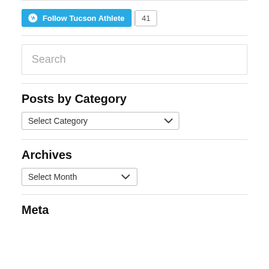[Figure (other): WordPress Follow button with 'Follow Tucson Athlete' text and follower count badge showing 41]
Search
Posts by Category
Select Category dropdown
Archives
Select Month dropdown
Meta